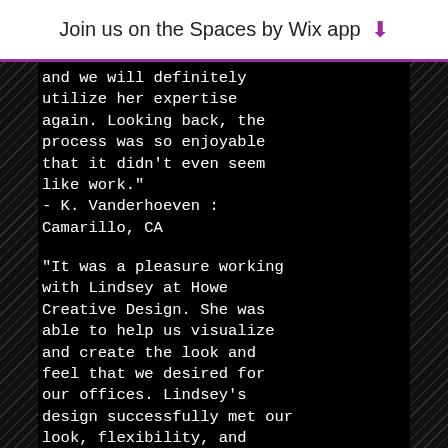Join us on the Spaces by Wix app ⬇
and we will definitely utilize her expertise again. Looking back, the process was so enjoyable that it didn't even seem like work."
- K. Vanderhoeven : Camarillo, CA
"It was a pleasure working with Lindsey at Howe Creative Design. She was able to help us visualize and create the look and feel that we desired for our offices. Lindsey's design successfully met our look, flexibility, and budget requiremnts. We would certainly work with Lindsey again and have, and will, recommend her to others."